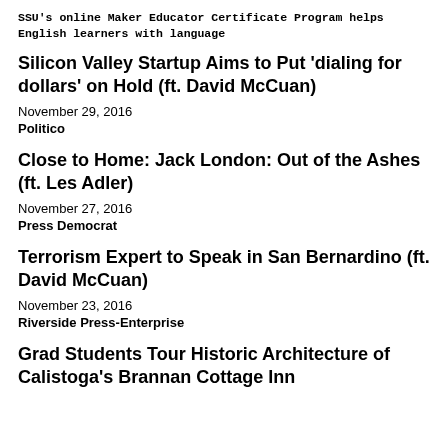SSU's online Maker Educator Certificate Program helps English learners with language
Silicon Valley Startup Aims to Put 'dialing for dollars' on Hold (ft. David McCuan)
November 29, 2016
Politico
Close to Home: Jack London: Out of the Ashes (ft. Les Adler)
November 27, 2016
Press Democrat
Terrorism Expert to Speak in San Bernardino (ft. David McCuan)
November 23, 2016
Riverside Press-Enterprise
Grad Students Tour Historic Architecture of Calistoga's Brannan Cottage Inn